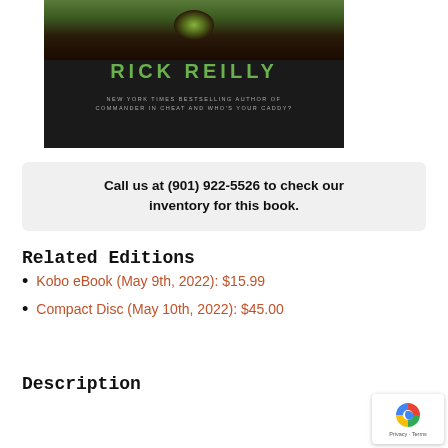[Figure (illustration): Book cover showing 'RICK REILLY' in large green letters on dark background with golf hole imagery. Subtitle: 'NEW YORK TIMES BESTSELLING AUTHOR OF COMMANDER IN CHEAT AND WHO'S YOUR CADDY?']
Call us at (901) 922-5526 to check our inventory for this book.
Related Editions
Kobo eBook (May 9th, 2022): $15.99
Compact Disc (May 10th, 2022): $45.00
Description